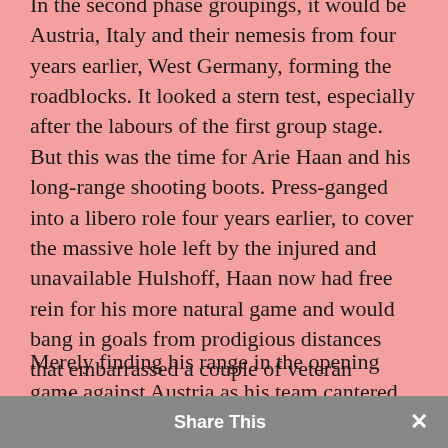In the second phase groupings, it would be Austria, Italy and their nemesis from four years earlier, West Germany, forming the roadblocks. It looked a stern test, especially after the labours of the first group stage. But this was the time for Arie Haan and his long-range shooting boots. Press-ganged into a libero role four years earlier, to cover the massive hole left by the injured and unavailable Hulshoff, Haan now had free rein for his more natural game and would bang in goals from prodigious distances that embarrassed a couple of veteran goalkeepers.
Merely finding his range in the opening game against Austria as his team cantered to a 5-1 victory, Haan netted the first blockbuster past the oversize-gloved hands of Sepp Maier to level the scores against West Germany. A late goal by Rene van de Kerkhof was still required though to sec Share This, s again the
Share This ×